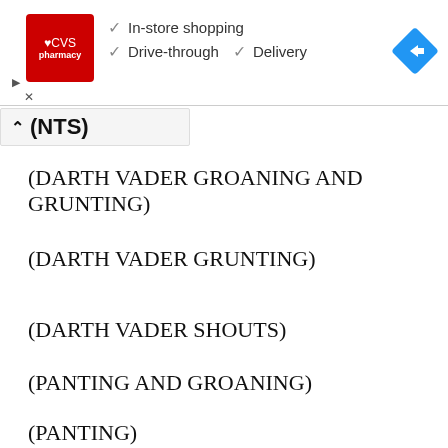[Figure (screenshot): CVS Pharmacy advertisement banner showing checkmarks for In-store shopping, Drive-through, and Delivery services, with a navigation arrow icon on the right.]
(... NTS)
(DARTH VADER GROANING AND GRUNTING)
(DARTH VADER GRUNTING)
(DARTH VADER SHOUTS)
(PANTING AND GROANING)
(PANTING)